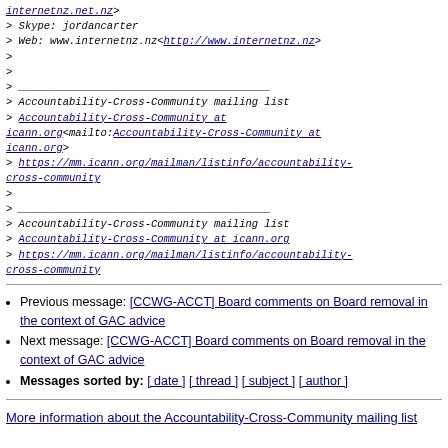> Skype: jordancarter
> Web: www.internetnz.nz<http://www.internetnz.nz>
>
>
> ________________________________________
> Accountability-Cross-Community mailing list
> Accountability-Cross-Community at icann.org<mailto:Accountability-Cross-Community at icann.org>
> https://mm.icann.org/mailman/listinfo/accountability-cross-community
>
> ________________________________________
> Accountability-Cross-Community mailing list
> Accountability-Cross-Community at icann.org
> https://mm.icann.org/mailman/listinfo/accountability-cross-community
Previous message: [CCWG-ACCT] Board comments on Board removal in the context of GAC advice
Next message: [CCWG-ACCT] Board comments on Board removal in the context of GAC advice
Messages sorted by: [ date ] [ thread ] [ subject ] [ author ]
More information about the Accountability-Cross-Community mailing list